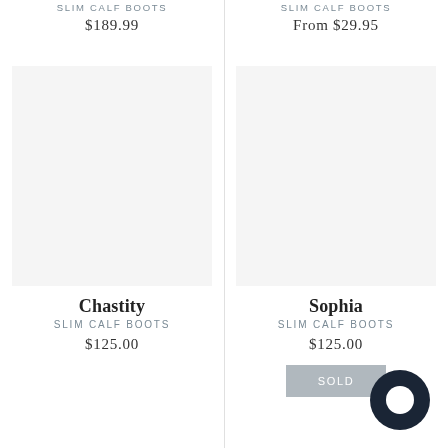SLIM CALF BOOTS
$189.99
SLIM CALF BOOTS
From $29.95
[Figure (photo): Product image placeholder for Chastity Slim Calf Boots]
Chastity
SLIM CALF BOOTS
$125.00
[Figure (photo): Product image placeholder for Sophia Slim Calf Boots]
Sophia
SLIM CALF BOOTS
$125.00
SOLD OUT